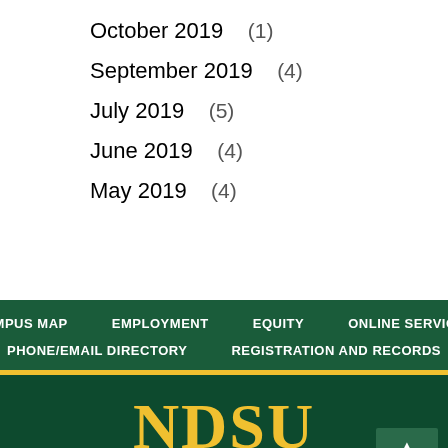October 2019   (1)
September 2019   (4)
July 2019   (5)
June 2019   (4)
May 2019   (4)
CAMPUS MAP   EMPLOYMENT   EQUITY   ONLINE SERVICES   PHONE/EMAIL DIRECTORY   REGISTRATION AND RECORDS   NDSU   North Dakota State University   Archives - West Building